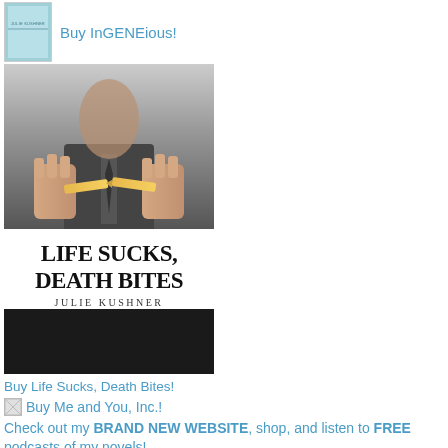[Figure (illustration): Book cover thumbnail for InGENEious by Julie Kushner, teal/light blue background]
Buy InGENEious!
[Figure (illustration): Book cover for Life Sucks, Death Bites by Julie Kushner - shows a man in a suit breaking a pencil, with bold serif title text and author name]
Buy Life Sucks, Death Bites!
[Figure (illustration): Small broken image placeholder for Buy Me and You, Inc.]
Buy Me and You, Inc.!
Check out my BRAND NEW WEBSITE, shop, and listen to FREE podcasts of my novels!
MY Fanfiction Page :)